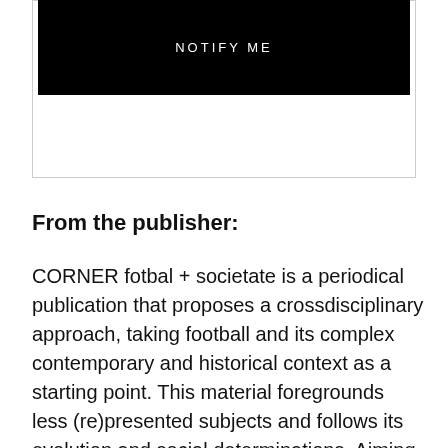[Figure (other): Black button/banner with 'NOTIFY ME' text in white capital letters]
From the publisher:
CORNER fotbal + societate is a periodical publication that proposes a crossdisciplinary approach, taking football and its complex contemporary and historical context as a starting point. This material foregrounds less (re)presented subjects and follows its evolution and social determinations. Aiming to intersect the culture of sport with various fields of knowledge such as anthropology, art,